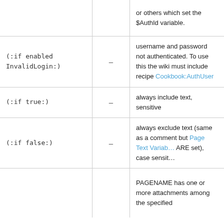| Condition |  | Description |
| --- | --- | --- |
|  | – | or others which set the $AuthId variable. |
| (:if enabled InvalidLogin:) | – | username and password not authenticated. To use this the wiki must include recipe Cookbook:AuthUser |
| (:if true:) | – | always include text, sensitive |
| (:if false:) | – | always exclude text (same as a comment but Page Text Variables ARE set), case sensitive |
|  |  | PAGENAME has one or more attachments among the specified |